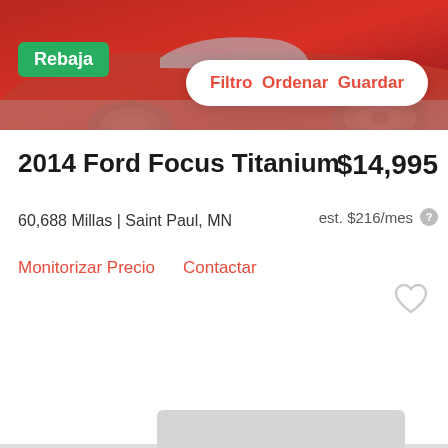[Figure (photo): Red car photo shown at top of vehicle listing card]
Rebaja
Filtro   Ordenar   Guardar
2014 Ford Focus Titanium
$14,995
60,688 Millas | Saint Paul, MN
est. $216/mes
Monitorizar Precio   Contactar
[Figure (photo): Second vehicle listing card area, partially visible with heart/favorite icon and a gray image placeholder at bottom]